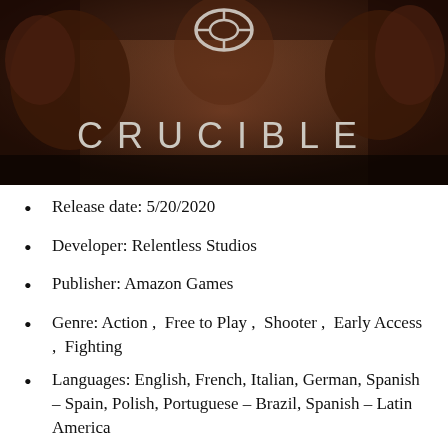[Figure (photo): Banner image for the video game Crucible, showing a dark fantasy/sci-fi scene with creatures and the game logo 'CRUCIBLE' in large stylized letters]
Release date: 5/20/2020
Developer: Relentless Studios
Publisher: Amazon Games
Genre: Action ,  Free to Play ,  Shooter ,  Early Access ,  Fighting
Languages: English, French, Italian, German, Spanish – Spain, Polish, Portuguese – Brazil, Spanish – Latin America